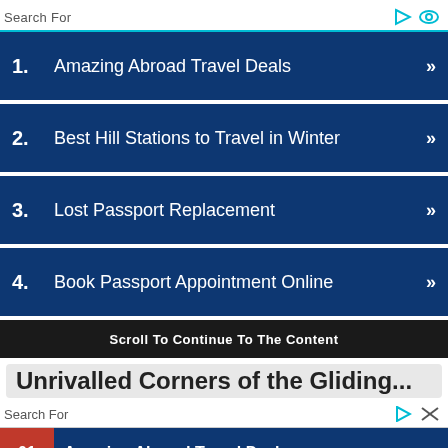Search For
1. Amazing Abroad Travel Deals
2. Best Hill Stations to Travel in Winter
3. Lost Passport Replacement
4. Book Passport Appointment Online
Scroll To Continue To The Content
Search For
01 Amazing Abroad Travel Deals
02 Best Hill Stations to Travel in Winter